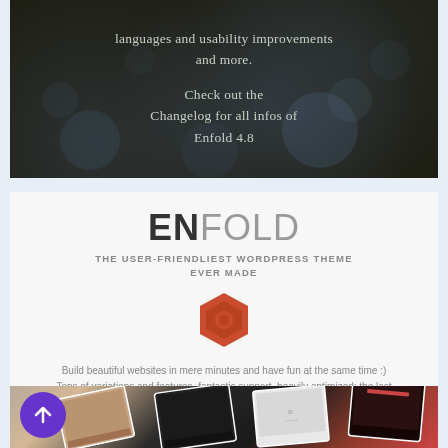[Figure (screenshot): Dark background section with bokeh/light blur effect showing text about languages, usability improvements and changelog for Enfold 4.8]
languages and usability improvements and more.

Check out the Changelog for all infos of Enfold 4.8
[Figure (infographic): White section with ENFOLD brand logo, tagline, hexagon icon, and description text]
ENFOLD
THE USER-FRIENDLIEST WORDPRESS THEME EVER MADE
Build beautiful websites in mere minutes and have fun at the same time :) Tons of variations and features, fantastic support, heavily optimized: the last theme you will ever need to buy!
[Figure (screenshot): Bottom section showing scattered device/website screenshot cards on dark background, with purple scroll-up button on the left]